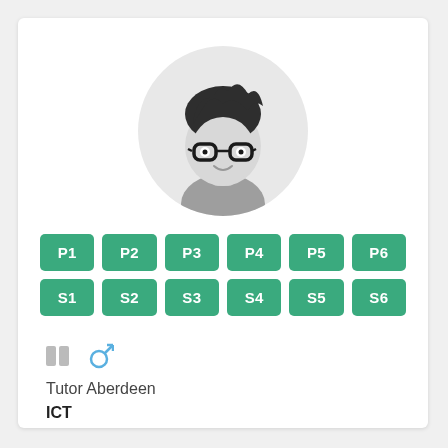[Figure (illustration): Cartoon avatar of a young male with dark hair and glasses, smiling, set inside a light grey circle]
P1 P2 P3 P4 P5 P6
S1 S2 S3 S4 S5 S6
[Figure (illustration): Two small grey square icons and a blue male gender symbol]
Tutor Aberdeen
ICT